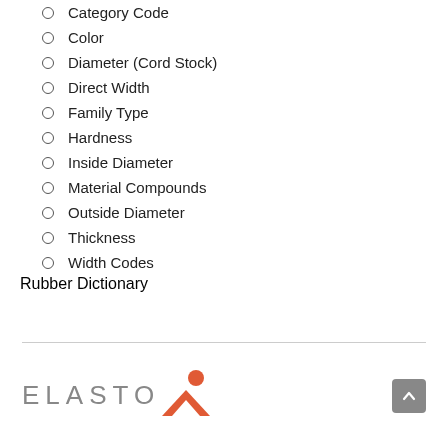Category Code
Color
Diameter (Cord Stock)
Direct Width
Family Type
Hardness
Inside Diameter
Material Compounds
Outside Diameter
Thickness
Width Codes
Rubber Dictionary
[Figure (logo): Elastomer company logo with orange figure icon and 'ELASTO' text in grey letters]